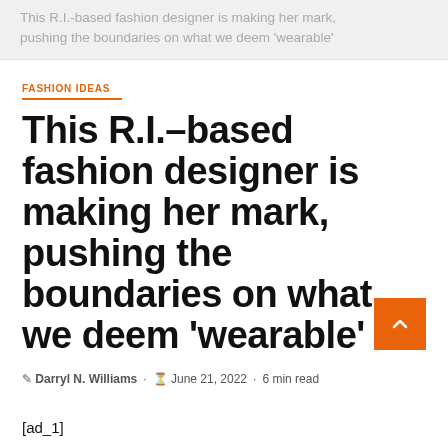This R.I.-based fashion designer is making her mark, pushing the boundaries on what we deem ‘wearable’
FASHION IDEAS
This R.I.-based fashion designer is making her mark, pushing the boundaries on what we deem ‘wearable’
Darryl N. Williams · June 21, 2022 · 6 min read
[ad_1]